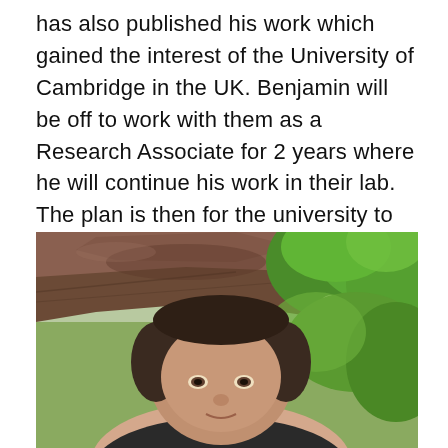has also published his work which gained the interest of the University of Cambridge in the UK. Benjamin will be off to work with them as a Research Associate for 2 years where he will continue his work in their lab. The plan is then for the university to help him establish a similar lab in Uganda.
[Figure (photo): A person photographed outdoors under a rusty corrugated metal roof/shelter, with green trees visible in the background. The photo shows the top of a woman's head (dark hair pulled back) looking up at the camera, with lush green foliage and a brownish-red metal roof canopy overhead.]